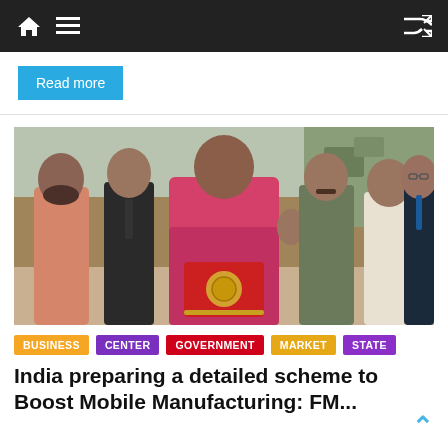Navigation bar with home, menu, and shuffle icons
Read more
[Figure (photo): Group photo of Indian government officials including a woman in a pink saree holding a red budget folder with the Indian emblem, surrounded by men in formal attire]
BUSINESS
CENTER
GOVERNMENT
MARKET
STATE
India preparing a detailed scheme to Boost Mobile Manufacturing: FM...